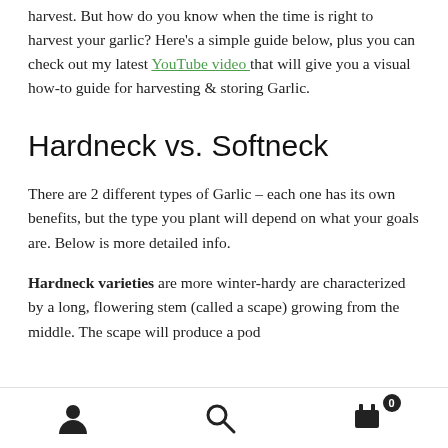harvest. But how do you know when the time is right to harvest your garlic? Here's a simple guide below, plus you can check out my latest YouTube video that will give you a visual how-to guide for harvesting & storing Garlic.
Hardneck vs. Softneck
There are 2 different types of Garlic – each one has its own benefits, but the type you plant will depend on what your goals are. Below is more detailed info.
Hardneck varieties are more winter-hardy are characterized by a long, flowering stem (called a scape) growing from the middle. The scape will produce a pod
user icon | search icon | cart (0)